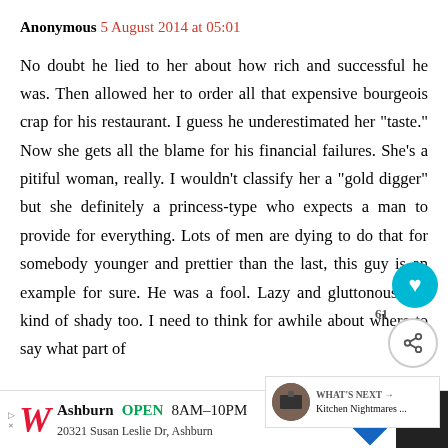Anonymous 5 August 2014 at 05:01
No doubt he lied to her about how rich and successful he was. Then allowed her to order all that expensive bourgeois crap for his restaurant. I guess he underestimated her "taste." Now she gets all the blame for his financial failures. She's a pitiful woman, really. I wouldn't classify her a "gold digger" but she definitely a princess-type who expects a man to provide for everything. Lots of men are dying to do that for somebody younger and prettier than the last, this guy is an example for sure. He was a fool. Lazy and gluttonous and kind of shady too. I need to think for awhile about where to say what part of
[Figure (other): Advertisement bar at bottom: Walgreens store ad showing Ashburn OPEN 8AM-10PM, 20321 Susan Leslie Dr, Ashburn, with navigation diamond icon. Right side shows dark panel with TV/media icon.]